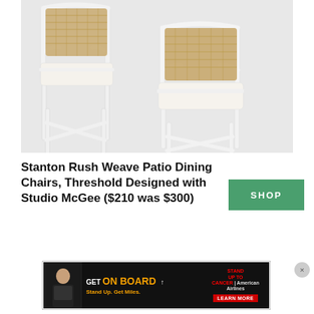[Figure (photo): Two white metal framed patio dining chairs with rush weave backs and white seat cushions on a gray background.]
Stanton Rush Weave Patio Dining Chairs, Threshold Designed with Studio McGee ($210 was $300)
[Figure (other): Green SHOP button]
[Figure (other): American Airlines GET ON BOARD advertisement banner with Stand Up To Cancer branding and red LEARN MORE button]